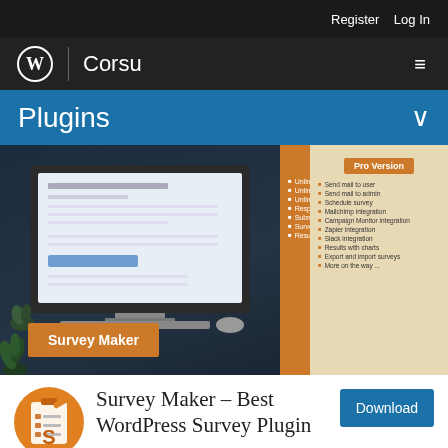Register  Log In
WordPress | Corsu
Plugins
[Figure (screenshot): Survey Maker plugin promotional banner showing a monitor with a survey form, features list, and pro version features on an orange and beige background]
Survey Maker – Best WordPress Survey Plugin
Download